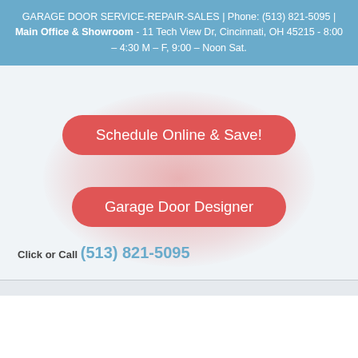GARAGE DOOR SERVICE-REPAIR-SALES | Phone: (513) 821-5095 | Main Office & Showroom - 11 Tech View Dr, Cincinnati, OH 45215 - 8:00 – 4:30 M – F, 9:00 – Noon Sat.
[Figure (infographic): Two red rounded-rectangle call-to-action buttons on a light blue-grey background with a red radial glow behind them. Top button reads 'Schedule Online & Save!' and bottom button reads 'Garage Door Designer'.]
Click or Call (513) 821-5095
Garage Door Repair & Service